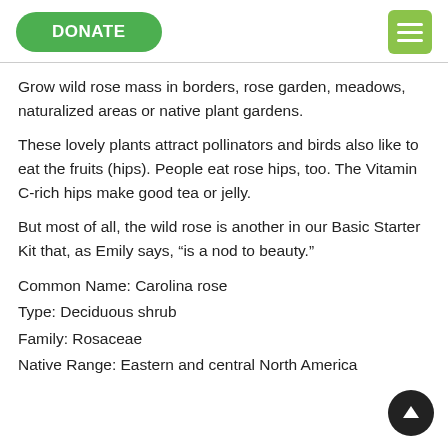DONATE
Grow wild rose mass in borders, rose garden, meadows, naturalized areas or native plant gardens.
These lovely plants attract pollinators and birds also like to eat the fruits (hips). People eat rose hips, too. The Vitamin C-rich hips make good tea or jelly.
But most of all, the wild rose is another in our Basic Starter Kit that, as Emily says, “is a nod to beauty.”
Common Name: Carolina rose
Type: Deciduous shrub
Family: Rosaceae
Native Range: Eastern and central North America